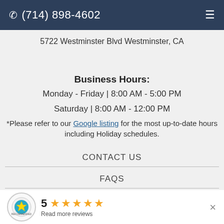(714) 898-4602
5722 Westminster Blvd Westminster, CA
Business Hours:
Monday - Friday | 8:00 AM - 5:00 PM
Saturday | 8:00 AM - 12:00 PM
*Please refer to our Google listing for the most up-to-date hours including Holiday schedules.
CONTACT US
FAQS
PRIVACY POLICY
5 Read more reviews